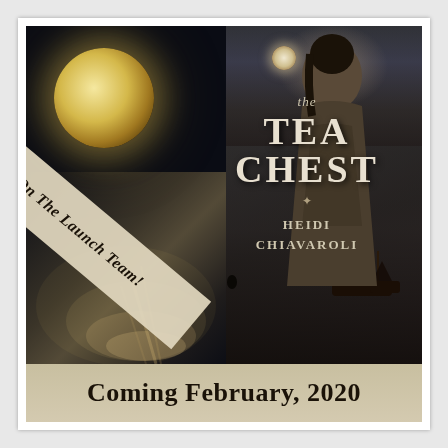[Figure (illustration): Book launch team announcement image for 'The Tea Chest' by Heidi Chiavaroli. Features a dark atmospheric scene with a large full moon on the left over moonlit water, a diagonal beige banner with italic text 'I'm On The Launch Team!', and on the right the book cover showing a woman in period dress from behind looking toward a harbor at night with ships, with the title 'The Tea Chest' and author name 'Heidi Chiavaroli'. A beige banner at the bottom reads 'Coming February, 2020'.]